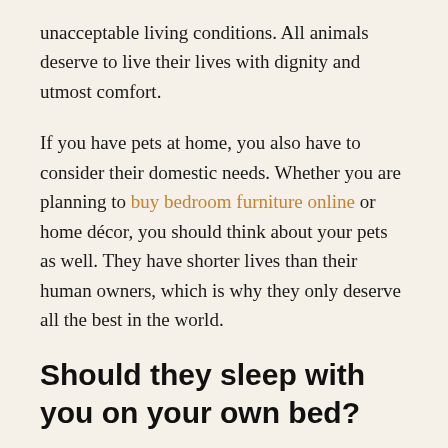unacceptable living conditions. All animals deserve to live their lives with dignity and utmost comfort.
If you have pets at home, you also have to consider their domestic needs. Whether you are planning to buy bedroom furniture online or home décor, you should think about your pets as well. They have shorter lives than their human owners, which is why they only deserve all the best in the world.
Should they sleep with you on your own bed?
It can be hard to decide where your pet should sleep. For one, some homeowners buy beds for their pets. These can be located near the kitchen, the hallway, or